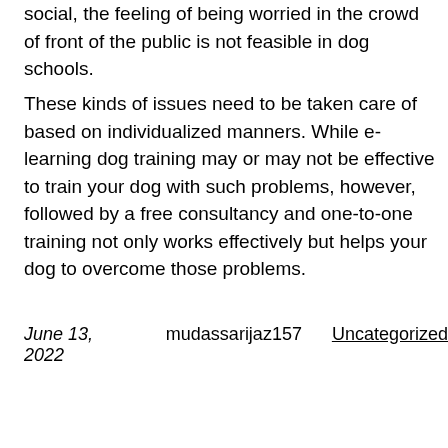social, the feeling of being worried in the crowd of front of the public is not feasible in dog schools.
These kinds of issues need to be taken care of based on individualized manners. While e-learning dog training may or may not be effective to train your dog with such problems, however, followed by a free consultancy and one-to-one training not only works effectively but helps your dog to overcome those problems.
June 13, 2022    mudassarijaz157    Uncategorized